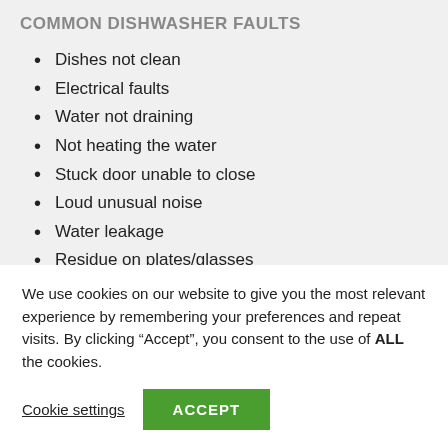COMMON DISHWASHER FAULTS
Dishes not clean
Electrical faults
Water not draining
Not heating the water
Stuck door unable to close
Loud unusual noise
Water leakage
Residue on plates/glasses
All repairs guaranteed for 12 months for your peace of mind
We use cookies on our website to give you the most relevant experience by remembering your preferences and repeat visits. By clicking “Accept”, you consent to the use of ALL the cookies.
Cookie settings  ACCEPT